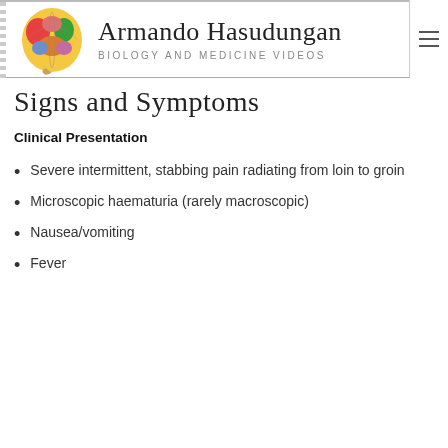Armando Hasudungan — Biology and Medicine Videos
Signs and Symptoms
Clinical Presentation
Severe intermittent, stabbing pain radiating from loin to groin
Microscopic haematuria (rarely macroscopic)
Nausea/vomiting
Fever